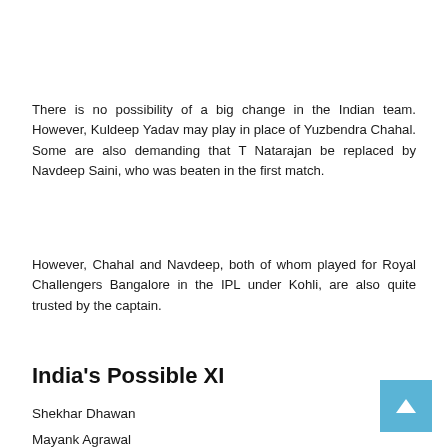There is no possibility of a big change in the Indian team. However, Kuldeep Yadav may play in place of Yuzbendra Chahal. Some are also demanding that T Natarajan be replaced by Navdeep Saini, who was beaten in the first match.
However, Chahal and Navdeep, both of whom played for Royal Challengers Bangalore in the IPL under Kohli, are also quite trusted by the captain.
India's Possible XI
Shekhar Dhawan
Mayank Agrawal